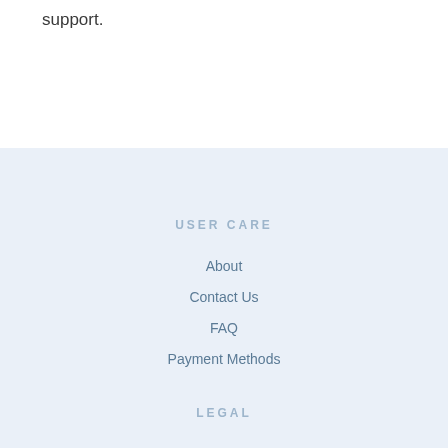support.
USER CARE
About
Contact Us
FAQ
Payment Methods
LEGAL